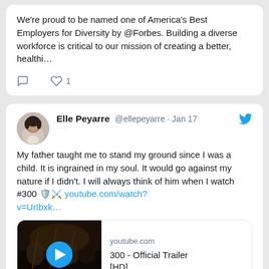We're proud to be named one of America's Best Employers for Diversity by @Forbes. Building a diverse workforce is critical to our mission of creating a better, healthi...
1 like
Elle Peyarre @ellepeyarre · Jan 17
My father taught me to stand my ground since I was a child. It is ingrained in my soul. It would go against my nature if I didn't. I will always think of him when I watch #300 🛡️⚔️ youtube.com/watch?v=UrIbxk...
[Figure (screenshot): YouTube video card showing '300 - Official Trailer [HD]' with a dark thumbnail featuring a warrior scene and a blue play button]
2 likes